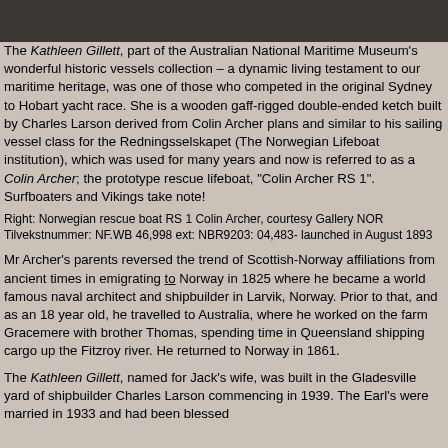[Figure (photo): Black and white photograph, partially visible at top of page, showing an outdoor scene]
The Kathleen Gillett, part of the Australian National Maritime Museum's wonderful historic vessels collection – a dynamic living testament to our maritime heritage, was one of those who competed in the original Sydney to Hobart yacht race. She is a wooden gaff-rigged double-ended ketch built by Charles Larson derived from Colin Archer plans and similar to his sailing vessel class for the Redningsselskapet (The Norwegian Lifeboat institution), which was used for many years and now is referred to as a Colin Archer; the prototype rescue lifeboat, "Colin Archer RS 1". Surfboaters and Vikings take note!
Right: Norwegian rescue boat RS 1 Colin Archer, courtesy Gallery NOR Tilvekstnummer: NF.WB 46,998 ext: NBR9203: 04,483- launched in August 1893
Mr Archer's parents reversed the trend of Scottish-Norway affiliations from ancient times in emigrating to Norway in 1825 where he became a world famous naval architect and shipbuilder in Larvik, Norway. Prior to that, and as an 18 year old, he travelled to Australia, where he worked on the farm Gracemere with brother Thomas, spending time in Queensland shipping cargo up the Fitzroy river. He returned to Norway in 1861.
The Kathleen Gillett, named for Jack's wife, was built in the Gladesville yard of shipbuilder Charles Larson commencing in 1939. The Earl's were married in 1933 and had been blessed